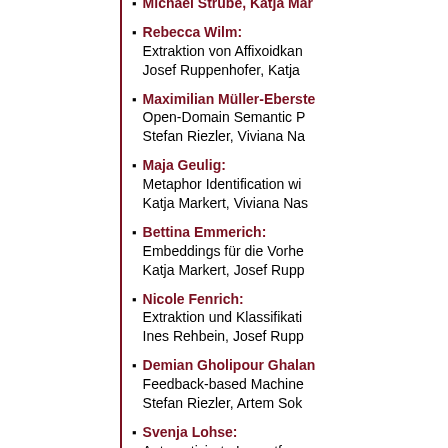Michael Strube, Katja Mar...
Rebecca Wilm: Extraktion von Affixoidkan... Josef Ruppenhofer, Katja
Maximilian Müller-Eberste... Open-Domain Semantic P... Stefan Riezler, Viviana Na...
Maja Geulig: Metaphor Identification wi... Katja Markert, Viviana Nas...
Bettina Emmerich: Embeddings für die Vorhe... Katja Markert, Josef Rupp...
Nicole Fenrich: Extraktion und Klassifikati... Ines Rehbein, Josef Rupp...
Demian Gholipour Ghalan... Feedback-based Machine... Stefan Riezler, Artem Sok...
Svenja Lohse: Automatisierte Layoutform...